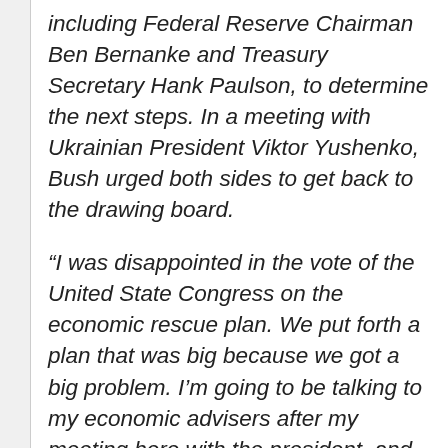including Federal Reserve Chairman Ben Bernanke and Treasury Secretary Hank Paulson, to determine the next steps. In a meeting with Ukrainian President Viktor Yushenko, Bush urged both sides to get back to the drawing board.
“I was disappointed in the vote of the United State Congress on the economic rescue plan. We put forth a plan that was big because we got a big problem. I’m going to be talking to my economic advisers after my meeting here with the president. and we’ll work with members of Congress on the